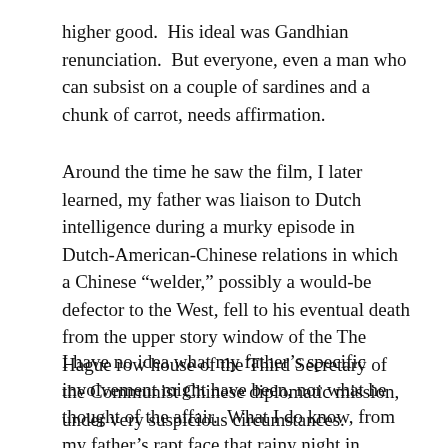higher good.  His ideal was Gandhian renunciation.  But everyone, even a man who can subsist on a couple of sardines and a chunk of carrot, needs affirmation.
Around the time he saw the film, I later learned, my father was liaison to Dutch intelligence during a murky episode in Dutch-American-Chinese relations in which a Chinese “welder,” possibly a would-be defector to the West, fell to his eventual death from the upper story window of the The Hague row house of the Third Secretary of the Communist Chinese diplomatic mission, under very suspicious circumstances.
I have no idea what my father’s specific involvement might have been, nor what he thought of the affair.  What I do know, from my father’s rapt face that rainy night in Heidelberg, is that, to see Alex Leamas–caught up in morally dubious schemes, engaged in relationships